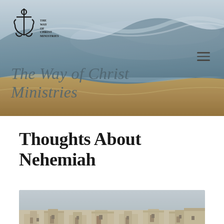[Figure (photo): Hero banner: coastal ocean wave scene with sandy beach, soft dawn/dusk light in blue-grey and warm sand tones. Anchor logo with 'The Way of Christ Ministries' text overlay at top left. Hamburger menu icon at right. Overlaid text reads 'The Way of Christ Ministries' in large serif italic.]
Thoughts About Nehemiah
[Figure (photo): Aerial photograph of an ancient city with white stone buildings, flat rooftops, and fortress walls — resembling Jerusalem or a Middle Eastern historic city.]